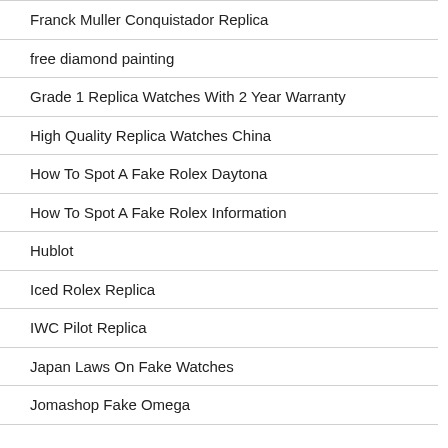Franck Muller Conquistador Replica
free diamond painting
Grade 1 Replica Watches With 2 Year Warranty
High Quality Replica Watches China
How To Spot A Fake Rolex Daytona
How To Spot A Fake Rolex Information
Hublot
Iced Rolex Replica
IWC Pilot Replica
Japan Laws On Fake Watches
Jomashop Fake Omega